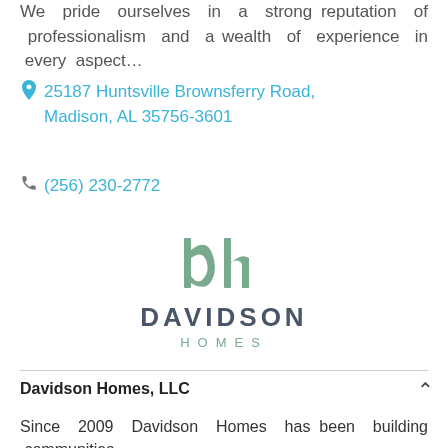We pride ourselves in a strong reputation of professionalism and a wealth of experience in every aspect…
25187 Huntsville Brownsferry Road, Madison, AL 35756-3601
(256) 230-2772
[Figure (logo): Davidson Homes logo with stylized 'dh' lettermark in sage green above the text 'DAVIDSON HOMES' in dark gray and green]
Davidson Homes, LLC
Since 2009 Davidson Homes has been building communities…